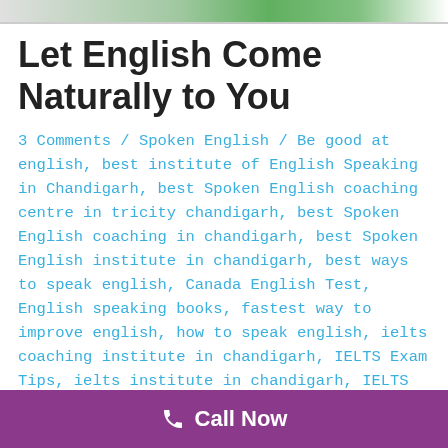[Figure (photo): Top image bar showing people, partial crop at top of page]
Let English Come Naturally to You
3 Comments / Spoken English / Be good at english, best institute of English Speaking in Chandigarh, best Spoken English coaching centre in tricity chandigarh, best Spoken English coaching in chandigarh, best Spoken English institute in chandigarh, best ways to speak english, Canada English Test, English speaking books, fastest way to improve english, how to speak english, ielts coaching institute in chandigarh, IELTS Exam Tips, ielts institute in chandigarh, IELTS Preparation in tricity chandigarh, Improve English, improve english speaking, improve english speaking fluency, improve english vocabulary, need to improve english, Pearson Test of English Exam, PTE Institute in Chandigarh, Spoken English Institute in Chandigarh, Tips for IELTS, tips for interview, tips to improve english, top novels to improve
Call Now